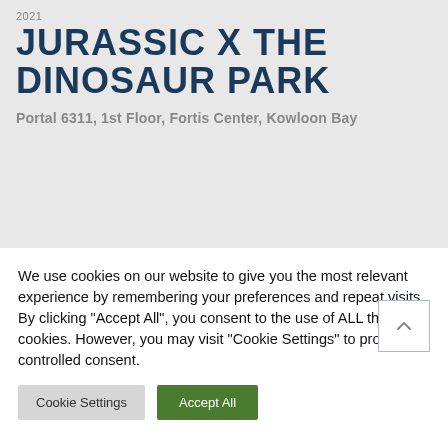2021
JURASSIC X THE DINOSAUR PARK
Portal 6311, 1st Floor, Fortis Center, Kowloon Bay
We use cookies on our website to give you the most relevant experience by remembering your preferences and repeat visits. By clicking “Accept All”, you consent to the use of ALL the cookies. However, you may visit “Cookie Settings” to provide a controlled consent.